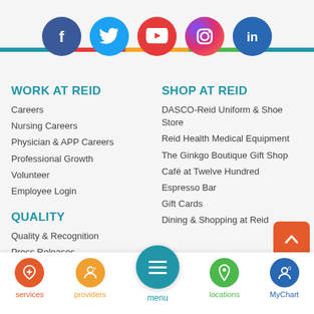[Figure (illustration): Social media icons row: Facebook (blue circle), Twitter (light blue circle), YouTube (red circle), Instagram (gradient circle), LinkedIn (dark blue circle) overlapping a horizontal colorful bar]
WORK AT REID
Careers
Nursing Careers
Physician & APP Careers
Professional Growth
Volunteer
Employee Login
QUALITY
Quality & Recognition
Press Releases
SHOP AT REID
DASCO-Reid Uniform & Shoe Store
Reid Health Medical Equipment
The Ginkgo Boutique Gift Shop
Café at Twelve Hundred
Espresso Bar
Gift Cards
Dining & Shopping at Reid
services | providers | menu | locations | MyChart